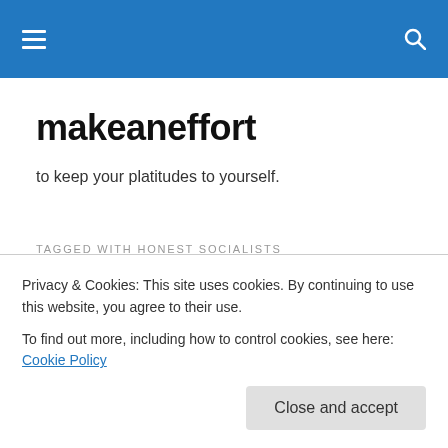makeaneffort (navigation header bar)
makeaneffort
to keep your platitudes to yourself.
TAGGED WITH HONEST SOCIALISTS
We Will Degrade Them!
With all the talk the Obama Administration, and the slavish...
Privacy & Cookies: This site uses cookies. By continuing to use this website, you agree to their use.
To find out more, including how to control cookies, see here: Cookie Policy